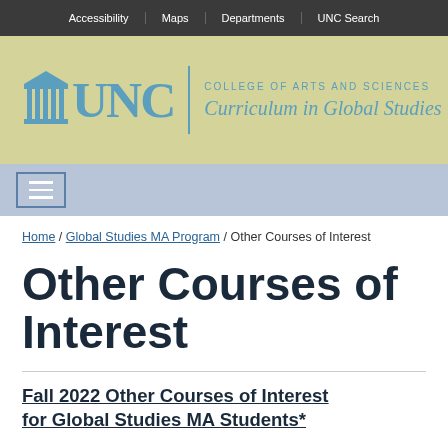Accessibility | Maps | Departments | UNC Search
[Figure (logo): UNC College of Arts and Sciences - Curriculum in Global Studies logo on a tan/yellow-green background]
[Figure (screenshot): Navigation hamburger menu button on a light blue-gray background bar]
Home / Global Studies MA Program / Other Courses of Interest
Other Courses of Interest
Fall 2022 Other Courses of Interest for Global Studies MA Students*